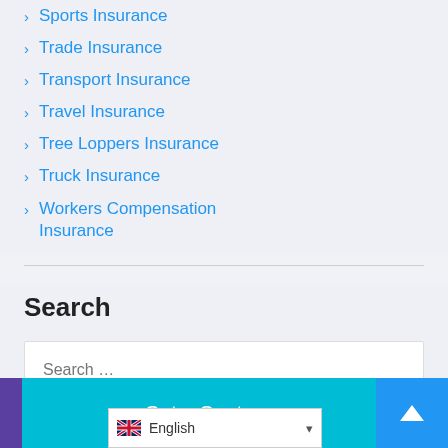Sports Insurance
Trade Insurance
Transport Insurance
Travel Insurance
Tree Loppers Insurance
Truck Insurance
Workers Compensation Insurance
Search
Search …
Search›
Get a Quote | English